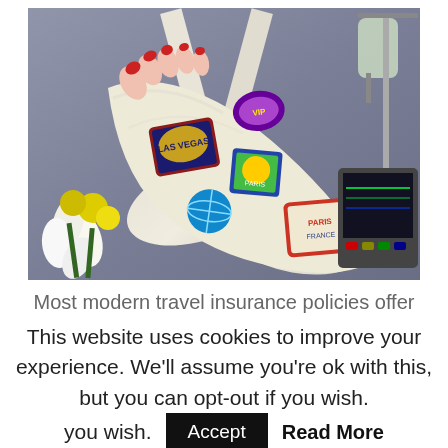[Figure (photo): A leg in a white plaster cast decorated with travel stickers (Las Vegas, Paris, etc.) elevated in a hospital sling, with flowers and an IV drip in the background.]
Most modern travel insurance policies offer
This website uses cookies to improve your experience. We'll assume you're ok with this, but you can opt-out if you wish.
Accept
Read More